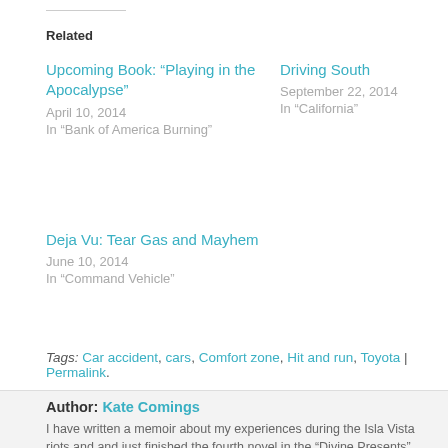Related
Upcoming Book: “Playing in the Apocalypse”
April 10, 2014
In “Bank of America Burning”
Driving South
September 22, 2014
In “California”
Deja Vu: Tear Gas and Mayhem
June 10, 2014
In “Command Vehicle”
Tags: Car accident, cars, Comfort zone, Hit and run, Toyota | Permalink.
Author: Kate Comings
I have written a memoir about my experiences during the Isla Vista riots and and just finished the fourth novel in the “Divine Presents”